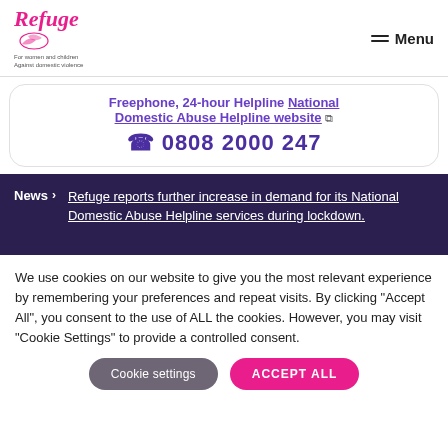Refuge — For women and children against domestic violence | Menu
Freephone, 24-hour Helpline National Domestic Abuse Helpline website
☎ 0808 2000 247
News › Refuge reports further increase in demand for its National Domestic Abuse Helpline services during lockdown.
We use cookies on our website to give you the most relevant experience by remembering your preferences and repeat visits. By clicking "Accept All", you consent to the use of ALL the cookies. However, you may visit "Cookie Settings" to provide a controlled consent.